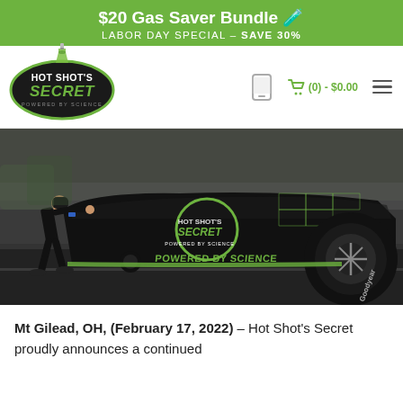$20 Gas Saver Bundle 🧪 LABOR DAY SPECIAL - SAVE 30%
[Figure (logo): Hot Shot's Secret logo — black oval with green border, white text 'HOT SHOT'S' and green italic 'SECRET', grey 'POWERED BY SCIENCE' text, flask icon above]
[Figure (photo): Drag racing photo: crew member in black pushing/steadying a black and green Hot Shot's Secret branded funny car on a drag strip, large slick rear tire visible on right, Hot Shot's Secret logo on car body]
Mt Gilead, OH, (February 17, 2022) – Hot Shot's Secret proudly announces a continued